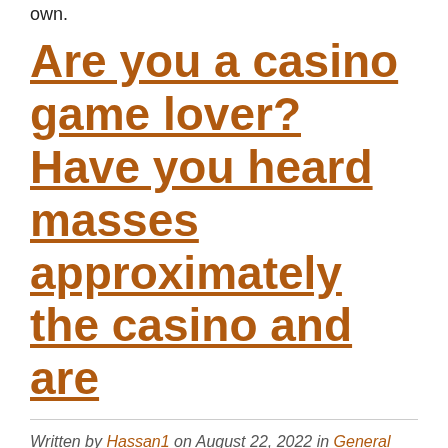own.
Are you a casino game lover? Have you heard masses approximately the casino and are
Written by Hassan1 on August 22, 2022 in General with no comments.
excited to strive it out once? The easy and main reason humans select to visit a on-line casino is have a laugh,